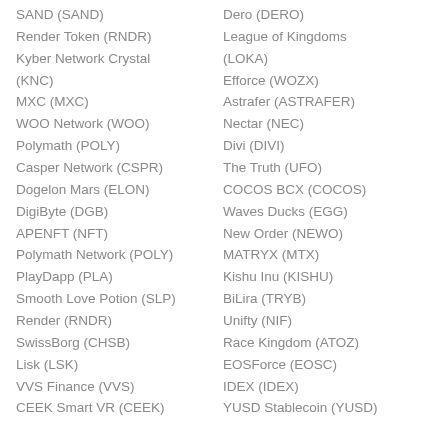SAND (SAND)
Render Token (RNDR)
Kyber Network Crystal (KNC)
MXC (MXC)
WOO Network (WOO)
Polymath (POLY)
Casper Network (CSPR)
Dogelon Mars (ELON)
DigiByte (DGB)
APENFT (NFT)
Polymath Network (POLY)
PlayDapp (PLA)
Smooth Love Potion (SLP)
Render (RNDR)
SwissBorg (CHSB)
Lisk (LSK)
VVS Finance (VVS)
CEEK Smart VR (CEEK)
Dero (DERO)
League of Kingdoms (LOKA)
Efforce (WOZX)
Astrafer (ASTRAFER)
Nectar (NEC)
Divi (DIVI)
The Truth (UFO)
COCOS BCX (COCOS)
Waves Ducks (EGG)
New Order (NEWO)
MATRYX (MTX)
Kishu Inu (KISHU)
BiLira (TRYB)
Unifty (NIF)
Race Kingdom (ATOZ)
EOSForce (EOSC)
IDEX (IDEX)
YUSD Stablecoin (YUSD)